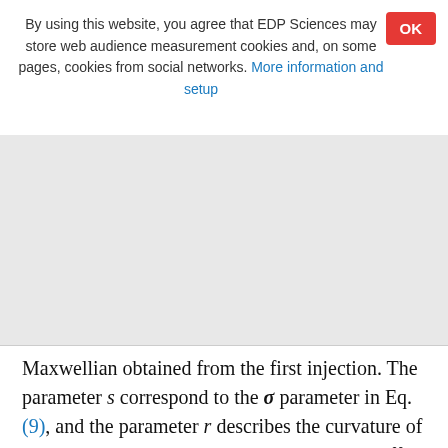By using this website, you agree that EDP Sciences may store web audience measurement cookies and, on some pages, cookies from social networks. More information and setup
Maxwellian obtained from the first injection. The parameter s correspond to the σ parameter in Eq. (9), and the parameter r describes the curvature of the LPPL distribution that evolves under the effect of the diffusive component of the acceleration, and the parameter K